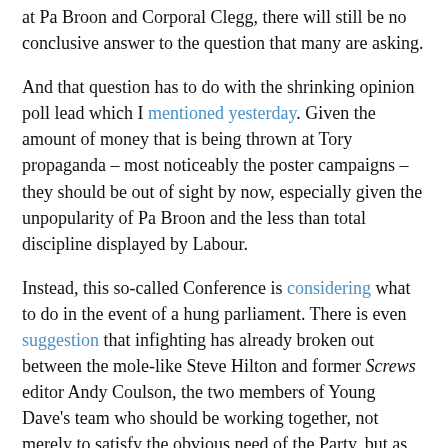at Pa Broon and Corporal Clegg, there will still be no conclusive answer to the question that many are asking.
And that question has to do with the shrinking opinion poll lead which I mentioned yesterday. Given the amount of money that is being thrown at Tory propaganda – most noticeably the poster campaigns – they should be out of sight by now, especially given the unpopularity of Pa Broon and the less than total discipline displayed by Labour.
Instead, this so-called Conference is considering what to do in the event of a hung parliament. There is even suggestion that infighting has already broken out between the mole-like Steve Hilton and former Screws editor Andy Coulson, the two members of Young Dave's team who should be working together, not merely to satisfy the obvious need of the Party, but as an example to everyone else.
Well, if they're preparing for a less than total victory, and the electorate knows that, the result could easily be to make the Tories less popular still. If they haven't got the confidence in their policies, their message, and their abilities, then why